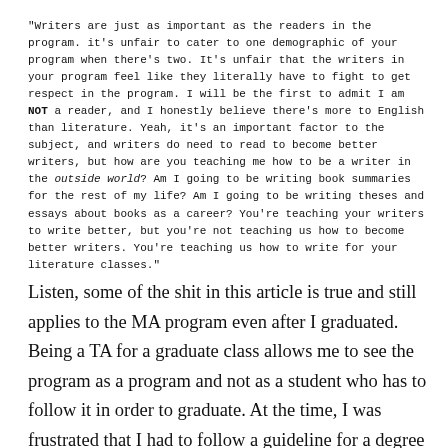"Writers are just as important as the readers in the program. it's unfair to cater to one demographic of your program when there's two. It's unfair that the writers in your program feel like they literally have to fight to get respect in the program. I will be the first to admit I am NOT a reader, and I honestly believe there's more to English than literature. Yeah, it's an important factor to the subject, and writers do need to read to become better writers, but how are you teaching me how to be a writer in the outside world? Am I going to be writing book summaries for the rest of my life? Am I going to be writing theses and essays about books as a career? You're teaching your writers to write better, but you're not teaching us how to become better writers. You're teaching us how to write for your literature classes."
Listen, some of the shit in this article is true and still applies to the MA program even after I graduated. Being a TA for a graduate class allows me to see the program as a program and not as a student who has to follow it in order to graduate. At the time, I was frustrated that I had to follow a guideline for a degree that did not favor its